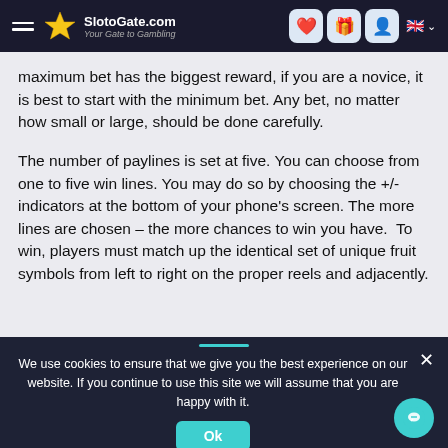SlotoGate.com — Your Gate to Gambling
maximum bet has the biggest reward, if you are a novice, it is best to start with the minimum bet. Any bet, no matter how small or large, should be done carefully.
The number of paylines is set at five. You can choose from one to five win lines. You may do so by choosing the +/- indicators at the bottom of your phone's screen. The more lines are chosen – the more chances to win you have.  To win, players must match up the identical set of unique fruit symbols from left to right on the proper reels and adjacently.
We use cookies to ensure that we give you the best experience on our website. If you continue to use this site we will assume that you are happy with it.